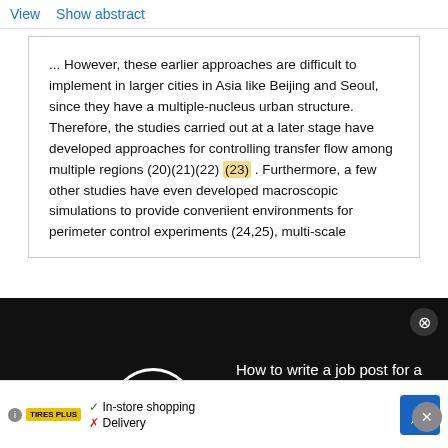View   Show abstract
... However, these earlier approaches are difficult to implement in larger cities in Asia like Beijing and Seoul, since they have a multiple-nucleus urban structure. Therefore, the studies carried out at a later stage have developed approaches for controlling transfer flow among multiple regions (20)(21)(22) (23) . Furthermore, a few other studies have even developed macroscopic simulations to provide convenient environments for perimeter control experiments (24,25), multi-scale
[Figure (other): Dark overlay advertisement panel showing a spinning circle loader and text: 'How to write a job post for a scientist, based on an analysis of how scientists have engaged with 2-million job posts' with a close (X) button]
Methodology to Increase Flexibility in Inter-Region Flow Control for Urban Traffic
Article   Advertisement
[Figure (other): Advertisement banner for Tires Plus showing checkmark for In-store shopping and X for Delivery, with navigation icon]